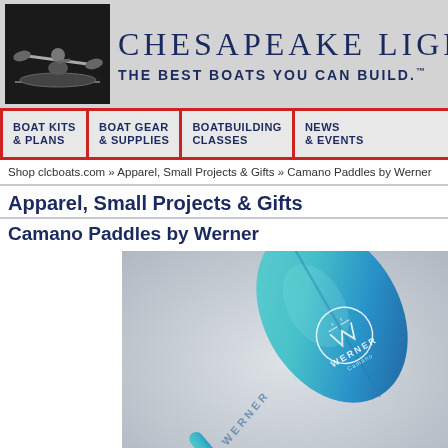CHESAPEAKE LIGHT CR — THE BEST BOATS YOU CAN BUILD.
BOAT KITS & PLANS | BOAT GEAR & SUPPLIES | BOATBUILDING CLASSES | NEWS & EVENTS
Shop clcboats.com » Apparel, Small Projects & Gifts » Camano Paddles by Werner
Apparel, Small Projects & Gifts
Camano Paddles by Werner
[Figure (photo): A teal and blue Werner Camano kayak paddle blade shown at an angle with the Werner logo visible on the blade surface.]